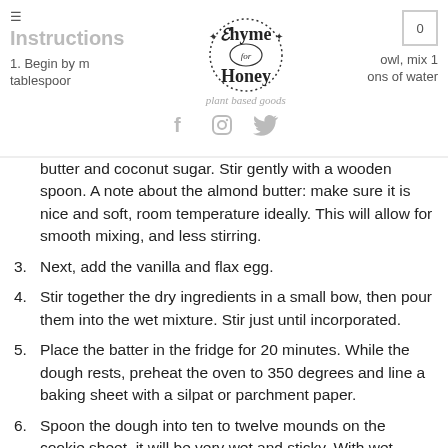Instructions — Thyme for Honey (plant based goods) — navigation bar with social icons
butter and coconut sugar. Stir gently with a wooden spoon. A note about the almond butter: make sure it is nice and soft, room temperature ideally. This will allow for smooth mixing, and less stirring.
3. Next, add the vanilla and flax egg.
4. Stir together the dry ingredients in a small bow, then pour them into the wet mixture. Stir just until incorporated.
5. Place the batter in the fridge for 20 minutes. While the dough rests, preheat the oven to 350 degrees and line a baking sheet with a silpat or parchment paper.
6. Spoon the dough into ten to twelve mounds on the cookie sheet, it will be very wet and sticky. With wet fingers, pat down the mounds into half inch high rounds. If the dough starts to stick, wet your fingers with cold water again and continue shaping.